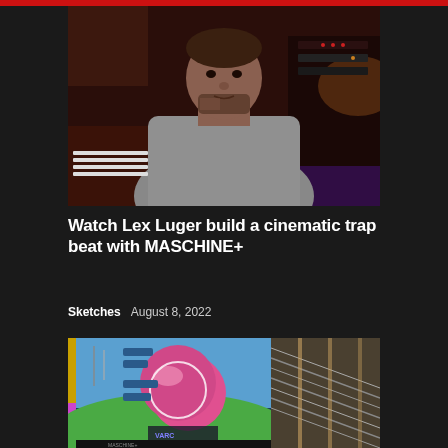[Figure (photo): Portrait of Lex Luger, a young Black man wearing a gray hoodie, seated in a music studio with keyboards and equipment visible in the background. Dark, moody lighting.]
Watch Lex Luger build a cinematic trap beat with MASCHINE+
Sketches   August 8, 2022
[Figure (screenshot): Screenshot of MASCHINE+ software interface showing a colorful 3D rendered background with a pink/red spherical shape and green landscape. A second panel on the right shows a close-up of audio hardware strings or frets. VARC branding visible at bottom.]